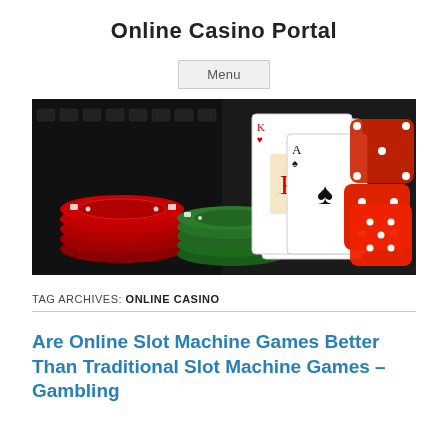Online Casino Portal
Menu
[Figure (photo): Casino chips (red and green stacks), playing cards (king and ace visible), and red translucent dice arranged on a dark surface.]
TAG ARCHIVES: ONLINE CASINO
Are Online Slot Machine Games Better Than Traditional Slot Machine Games – Gambling